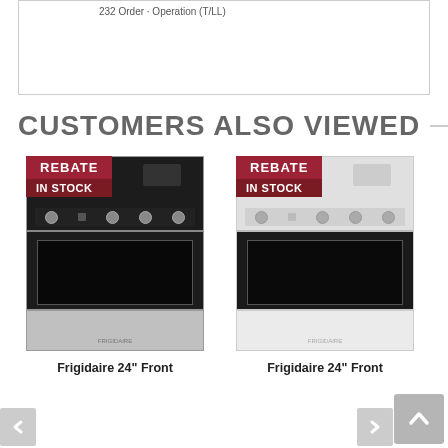[Figure (screenshot): Partial document box with truncated text at top]
CUSTOMERS ALSO VIEWED
[Figure (photo): Frigidaire 24-inch front stainless range with REBATE and IN STOCK badges]
[Figure (photo): Frigidaire 24-inch front white range with REBATE and IN STOCK badges]
Frigidaire 24" Front
Frigidaire 24" Front